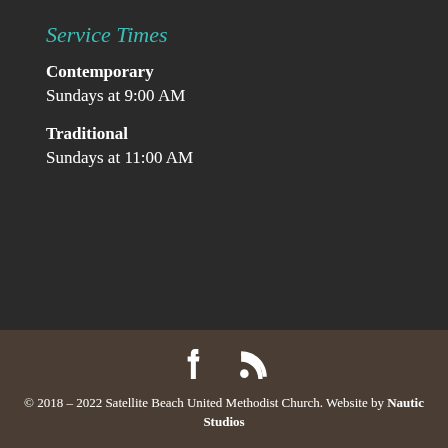Service Times
Contemporary
Sundays at 9:00 AM
Traditional
Sundays at 11:00 AM
[Figure (other): Facebook icon and RSS feed icon in white on dark brown footer background]
© 2018 – 2022 Satellite Beach United Methodist Church. Website by Nautic Studios